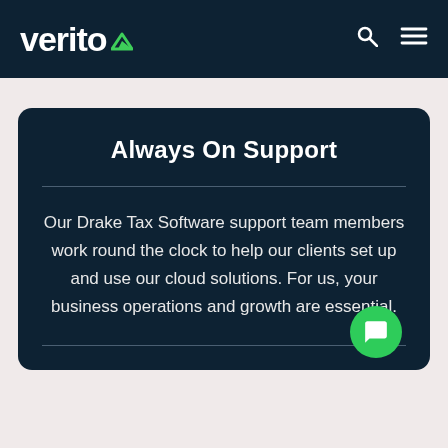verito
Always On Support
Our Drake Tax Software support team members work round the clock to help our clients set up and use our cloud solutions. For us, your business operations and growth are essential.